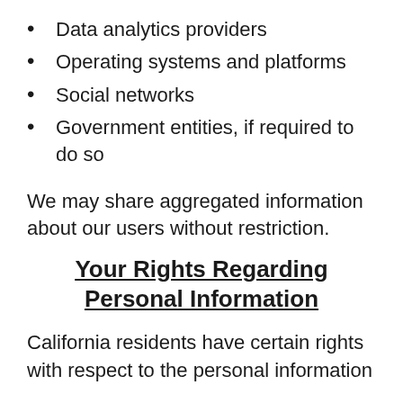Data analytics providers
Operating systems and platforms
Social networks
Government entities, if required to do so
We may share aggregated information about our users without restriction.
Your Rights Regarding Personal Information
California residents have certain rights with respect to the personal information